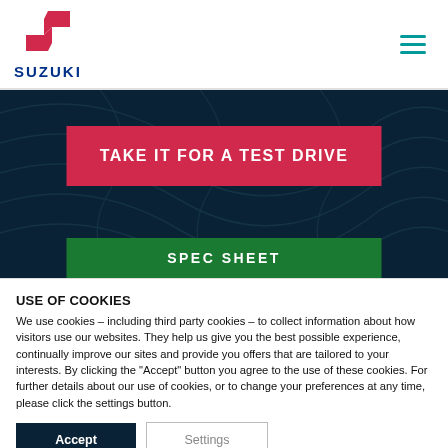[Figure (logo): Suzuki logo: red S-shaped emblem above the word SUZUKI in bold dark blue]
[Figure (other): Hamburger menu icon with three teal horizontal lines]
[Figure (other): Dark navy blue banner with topographic pattern background containing two buttons]
TAKE IT FOR A TEST DRIVE
SPEC SHEET
USE OF COOKIES
We use cookies – including third party cookies – to collect information about how visitors use our websites. They help us give you the best possible experience, continually improve our sites and provide you offers that are tailored to your interests. By clicking the "Accept" button you agree to the use of these cookies. For further details about our use of cookies, or to change your preferences at any time, please click the settings button.
Accept
Settings